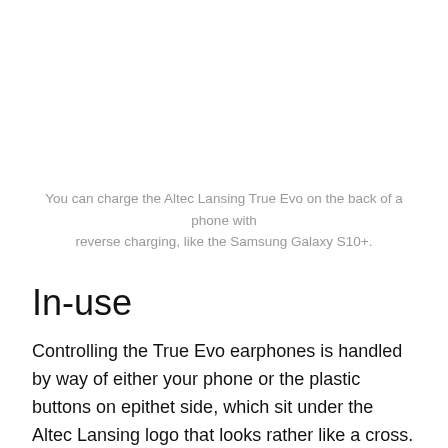You can charge the Altec Lansing True Evo on the back of a phone with reverse charging, like the Samsung Galaxy S10+.
In-use
Controlling the True Evo earphones is handled by way of either your phone or the plastic buttons on epithet side, which sit under the Altec Lansing logo that looks rather like a cross.
Following thefried strandard Bluetooth device f...